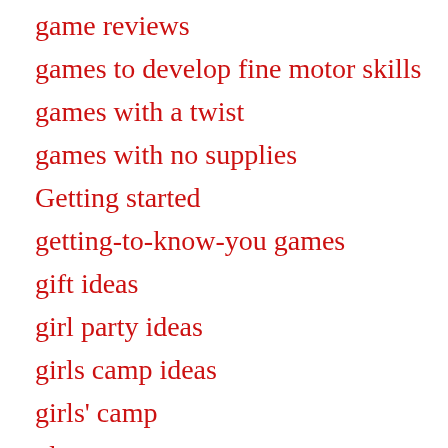game reviews
games to develop fine motor skills
games with a twist
games with no supplies
Getting started
getting-to-know-you games
gift ideas
girl party ideas
girls camp ideas
girls' camp
glue
goals
golf
graph paper